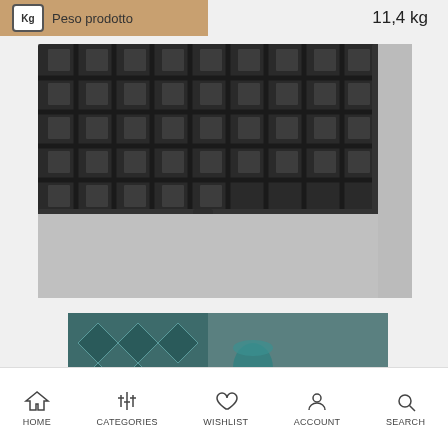Peso prodotto
11,4 kg
[Figure (photo): Close-up detail photo of a dark matte black metal grid/lattice table top with a central leg support, photographed against a light gray background.]
[Figure (photo): Partial image showing teal/green patterned fabric and a teal cup on a dark surface.]
HOME  CATEGORIES  WISHLIST  ACCOUNT  SEARCH